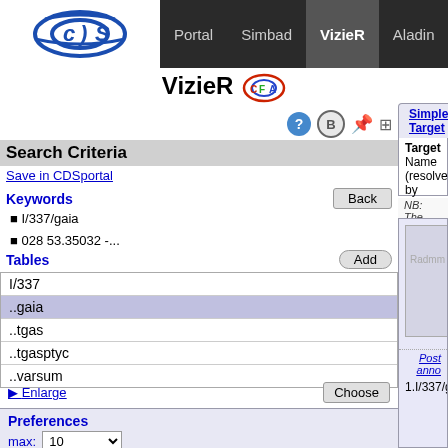VizieR — Portal | Simbad | VizieR | Aladin | X-Match | Other
VizieR CFA
Search Criteria
Save in CDSportal
Keywords
I/337/gaia
028 53.35032 -...
Tables
| Table |
| --- |
| I/337 |
| ..gaia |
| ..tgas |
| ..tgasptyc |
| ..varsum |
Enlarge   Choose
Preferences
max: 10
HTML Table
All columns
Compute
Simple Target | List Of Targets
Target Name (resolved by Sesame) or Position:
Clear  00 28 53.35032 -00 05 18.7
NB: The epoch used for the query is the original
[Figure (screenshot): VizieR catalog browser showing I/337 Gaia DR1 catalog map view with controls Radmm, ln, V, X, Y and catalog identifier I/337]
Gaia DR1
Collaborat
R
2016A&A...
Simila
acknowled
cite Gaia
Post anno
1.I/337/gaia
Sample of
(Download
fits or csv h
names in g